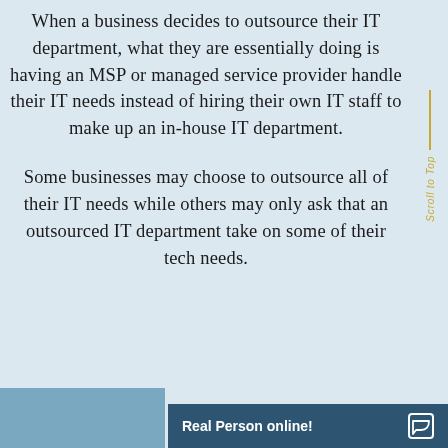When a business decides to outsource their IT department, what they are essentially doing is having an MSP or managed service provider handle their IT needs instead of hiring their own IT staff to make up an in-house IT department.

Some businesses may choose to outsource all of their IT needs while others may only ask that an outsourced IT department take on some of their tech needs.
Scroll to Top
Real Person online!